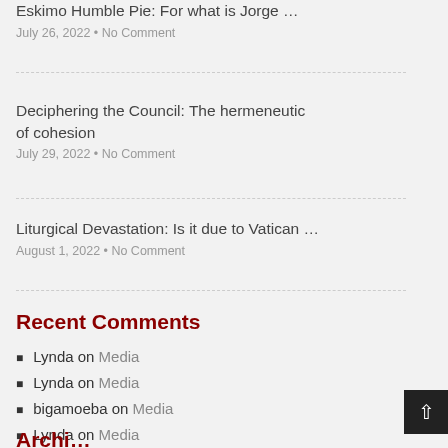Eskimo Humble Pie: For what is Jorge …
July 26, 2022 • No Comment
Deciphering the Council: The hermeneutic of cohesion
July 29, 2022 • No Comment
Liturgical Devastation: Is it due to Vatican …
August 1, 2022 • No Comment
Recent Comments
Lynda on Media
Lynda on Media
bigamoeba on Media
Lynda on Media
bigamoeba on Media
Archives